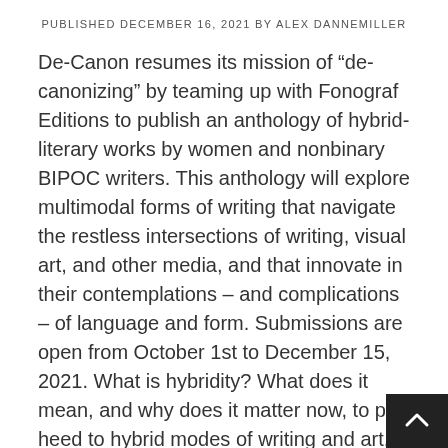PUBLISHED DECEMBER 16, 2021 BY ALEX DANNEMILLER
De-Canon resumes its mission of “de-canonizing” by teaming up with Fonograf Editions to publish an anthology of hybrid-literary works by women and nonbinary BIPOC writers. This anthology will explore multimodal forms of writing that navigate the restless intersections of writing, visual art, and other media, and that innovate in their contemplations – and complications – of language and form. Submissions are open from October 1st to December 15, 2021. What is hybridity? What does it mean, and why does it matter now, to pay heed to hybrid modes of writing and art, to confluences of aesthetic mediums, to processes that make visible the seams and in-between spaces of the realms we ‘make’ in? How does the hybrid form potentially re-define “writing”? And what form does…